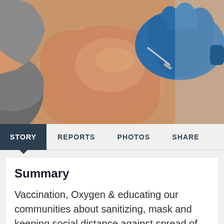[Figure (photo): Close-up photo of a person's upper arm being given an injection by a healthcare worker wearing blue medical gloves. The patient is wearing a grey sleeveless top.]
STORY  REPORTS  PHOTOS  SHARE
Summary
Vaccination, Oxygen & educating our communities about sanitizing, mask and keeping social distance against spread of Covid-19 is CHHASE priority. We will